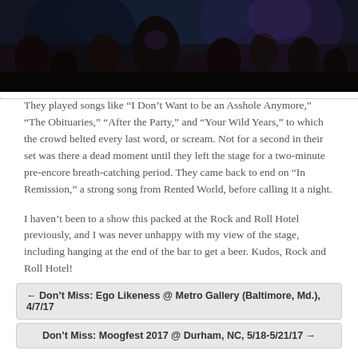[Figure (photo): Concert crowd photo, dark venue with blue and purple stage lighting, silhouettes of people]
They played songs like “I Don’t Want to be an Asshole Anymore,” “The Obituaries,” “After the Party,” and “Your Wild Years,” to which the crowd belted every last word, or scream. Not for a second in their set was there a dead moment until they left the stage for a two-minute pre-encore breath-catching period. They came back to end on “In Remission,” a strong song from Rented World, before calling it a night.
I haven’t been to a show this packed at the Rock and Roll Hotel previously, and I was never unhappy with my view of the stage, including hanging at the end of the bar to get a beer. Kudos, Rock and Roll Hotel!
← Don’t Miss: Ego Likeness @ Metro Gallery (Baltimore, Md.), 4/7/17
Don’t Miss: Moogfest 2017 @ Durham, NC, 5/18-5/21/17 →